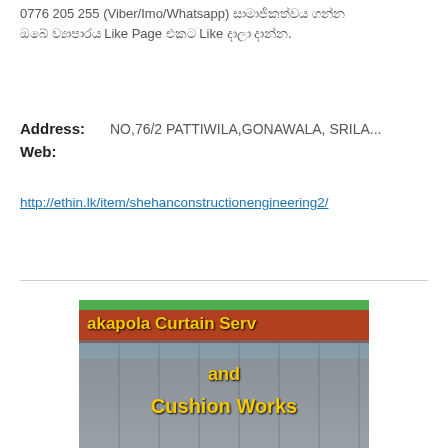0776 205 255 (Viber/Imo/Whatsapp) සාමාජිකත්වය ගන්න ඔබේ ව්‍යාපාරය Like Page එකට Like දාලා දාන්න.
Address:   NO,76/2 PATTIWILA,GONAWALA, SRILA...
Web:
http://ethin.lk/item/shehanconstructionengineering2/
[Figure (photo): Advertising image for 'akapola Curtain Serv and Cushion Works' showing a building with a brown/red roof and glass facade. Yellow bold text overlays the image with green bar at top.]